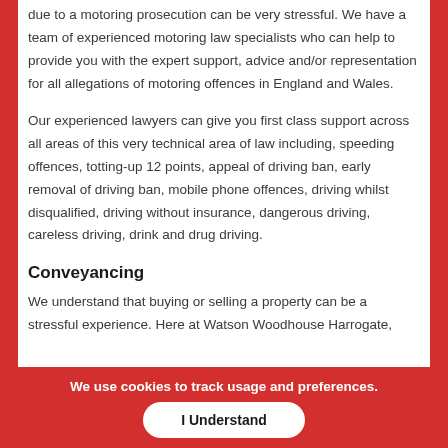due to a motoring prosecution can be very stressful. We have a team of experienced motoring law specialists who can help to provide you with the expert support, advice and/or representation for all allegations of motoring offences in England and Wales.
Our experienced lawyers can give you first class support across all areas of this very technical area of law including, speeding offences, totting-up 12 points, appeal of driving ban, early removal of driving ban, mobile phone offences, driving whilst disqualified, driving without insurance, dangerous driving, careless driving, drink and drug driving.
Conveyancing
We understand that buying or selling a property can be a stressful experience. Here at Watson Woodhouse Harrogate, our experience and expertise can ensure that we make every transaction as easy on possible...
We use cookies to track usage and preferences.